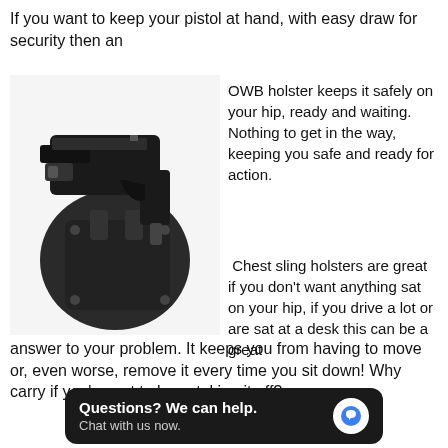If you want to keep your pistol at hand, with easy draw for security then an
[Figure (photo): Black OWB holster with a pistol inserted, showing a Kydex-style outside-the-waistband holster with retention screws and belt attachment.]
OWB holster keeps it safely on your hip, ready and waiting. Nothing to get in the way, keeping you safe and ready for action.
Chest sling holsters are great if you don't want anything sat on your hip, if you drive a lot or are sat at a desk this can be a great answer to your problem. It keeps you from having to move or, even worse, remove it every time you sit down! Why carry if you've got to keep taking it off?
Questions? We can help. Chat with us now.